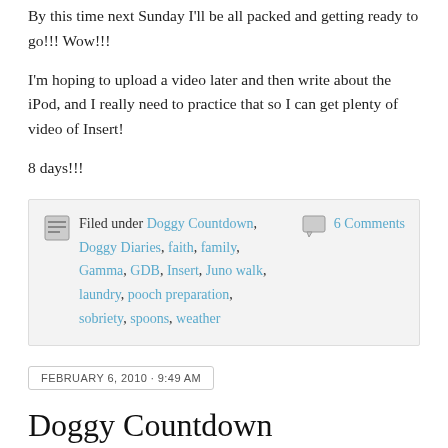By this time next Sunday I'll be all packed and getting ready to go!!! Wow!!!
I'm hoping to upload a video later and then write about the iPod, and I really need to practice that so I can get plenty of video of Insert!
8 days!!!
Filed under Doggy Countdown, Doggy Diaries, faith, family, Gamma, GDB, Insert, Juno walk, laundry, pooch preparation, sobriety, spoons, weather | 6 Comments
FEBRUARY 6, 2010 · 9:49 AM
Doggy Countdown